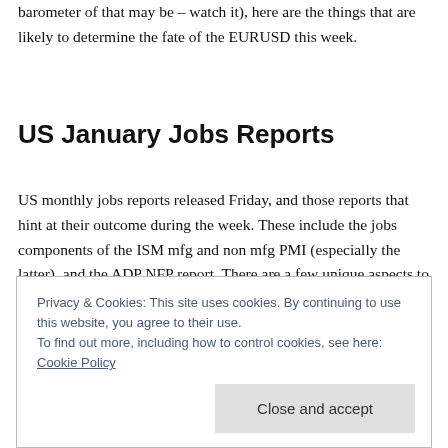barometer of that may be – watch it), here are the things that are likely to determine the fate of the EURUSD this week.
US January Jobs Reports
US monthly jobs reports released Friday, and those reports that hint at their outcome during the week. These include the jobs components of the ISM mfg and non mfg PMI (especially the latter), and the ADP NFP report. There are a few unique aspects to consider for the January 2014
Privacy & Cookies: This site uses cookies. By continuing to use this website, you agree to their use.
To find out more, including how to control cookies, see here: Cookie Policy
Close and accept